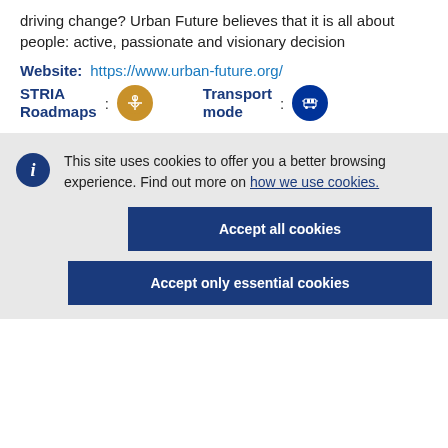driving change? Urban Future believes that it is all about people: active, passionate and visionary decision
Website: https://www.urban-future.org/
STRIA Roadmaps : [icon] Transport mode : [icon]
This site uses cookies to offer you a better browsing experience. Find out more on how we use cookies.
Accept all cookies
Accept only essential cookies